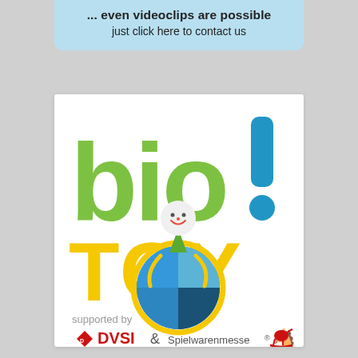[Figure (illustration): Light blue banner with text '... even videoclips are possible / just click here to contact us']
[Figure (logo): bio!TOY logo on white background with clown mascot, supported by DVSI & Spielwarenmesse]